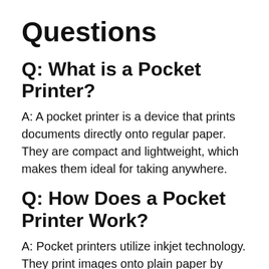Questions
Q: What is a Pocket Printer?
A: A pocket printer is a device that prints documents directly onto regular paper. They are compact and lightweight, which makes them ideal for taking anywhere.
Q: How Does a Pocket Printer Work?
A: Pocket printers utilize inkjet technology. They print images onto plain paper by spraying tiny droplets of ink onto the